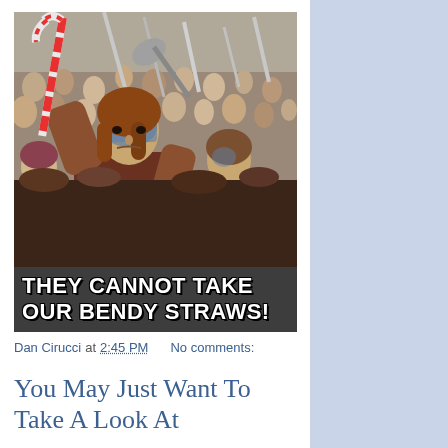[Figure (photo): Meme image: a man with blue face paint (resembling Braveheart) raising a red and white striped bendy straw like a weapon, surrounded by a crowd. Text overlay reads: THEY CANNOT TAKE OUR BENDY STRAWS!]
Dan Cirucci at 2:45 PM   No comments:
You May Just Want To Take A Look At